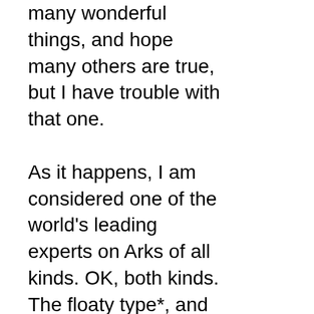many wonderful things, and hope many others are true, but I have trouble with that one.

As it happens, I am considered one of the world's leading experts on Arks of all kinds. OK, both kinds. The floaty type*, and the sort that blow things up and melt Nazis. I must be considered an